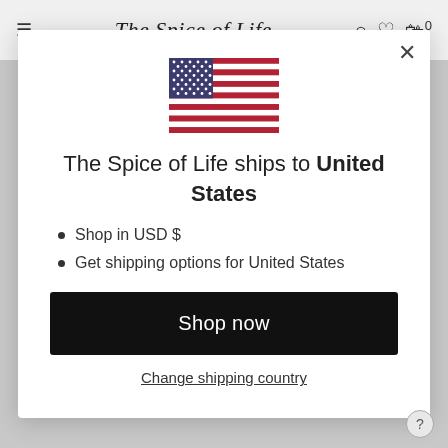The Spice of Life
[Figure (illustration): US flag SVG illustration]
The Spice of Life ships to United States
Shop in USD $
Get shipping options for United States
Shop now
Change shipping country